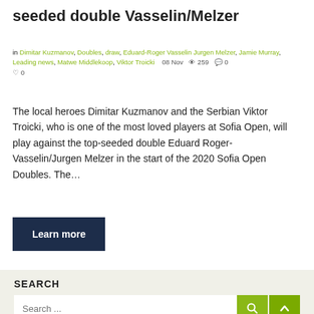seeded double Vasselin/Melzer
in Dimitar Kuzmanov, Doubles, draw, Eduard-Roger Vasselin Jurgen Melzer, Jamie Murray, Leading news, Matwe Middlekoop, Viktor Troicki   08 Nov  259  0  0
The local heroes Dimitar Kuzmanov and the Serbian Viktor Troicki, who is one of the most loved players at Sofia Open, will play against the top-seeded double Eduard Roger-Vasselin/Jurgen Melzer in the start of the 2020 Sofia Open Doubles. The...
Learn more
SEARCH
Search ...